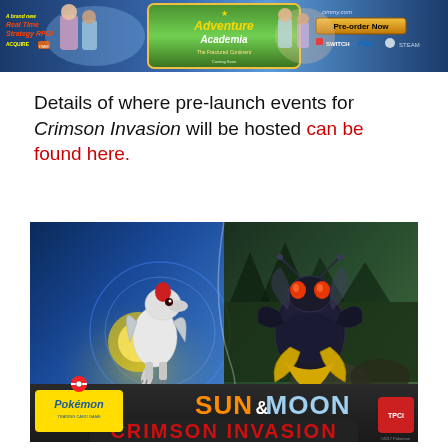[Figure (illustration): Advertisement banner for Adventure Academia: The Fractured Continent — a Real Time Strategy RPG. Shows anime characters, game logo, Pre-order Now button, available on Switch, PS4, Steam.]
Details of where pre-launch events for Crimson Invasion will be hosted can be found here.
[Figure (photo): Pokémon Trading Card Game Sun & Moon: Crimson Invasion box art featuring Silvally and Buzzwole on a split background. Pokémon logo and TCG logo visible at bottom.]